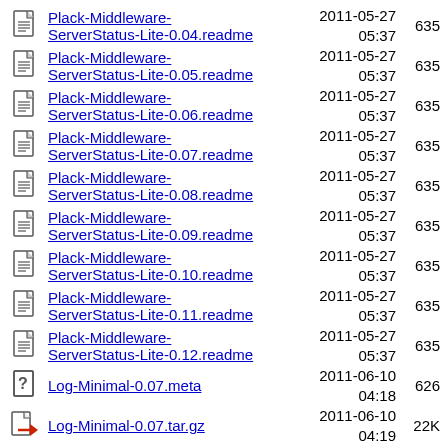Plack-Middleware-ServerStatus-Lite-0.04.readme  2011-05-27 05:37  635
Plack-Middleware-ServerStatus-Lite-0.05.readme  2011-05-27 05:37  635
Plack-Middleware-ServerStatus-Lite-0.06.readme  2011-05-27 05:37  635
Plack-Middleware-ServerStatus-Lite-0.07.readme  2011-05-27 05:37  635
Plack-Middleware-ServerStatus-Lite-0.08.readme  2011-05-27 05:37  635
Plack-Middleware-ServerStatus-Lite-0.09.readme  2011-05-27 05:37  635
Plack-Middleware-ServerStatus-Lite-0.10.readme  2011-05-27 05:37  635
Plack-Middleware-ServerStatus-Lite-0.11.readme  2011-05-27 05:37  635
Plack-Middleware-ServerStatus-Lite-0.12.readme  2011-05-27 05:37  635
Log-Minimal-0.07.meta  2011-06-10 04:18  626
Log-Minimal-0.07.tar.gz  2011-06-10 04:19  22K